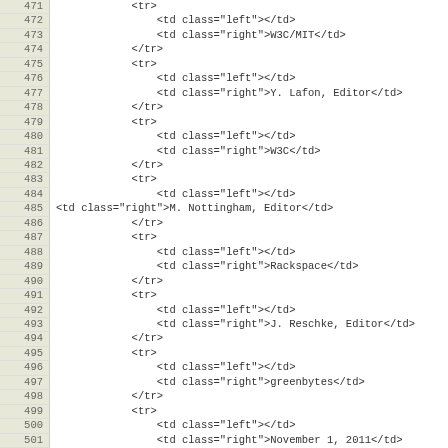Code listing lines 471-501 showing XML/HTML table structure markup